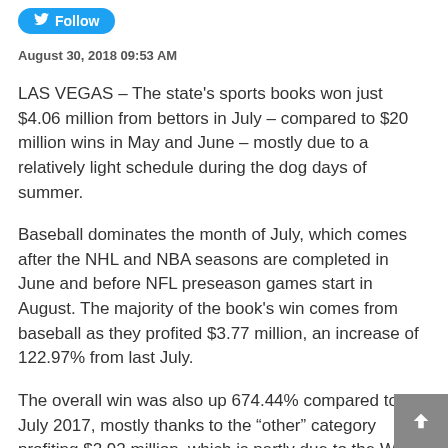Follow
August 30, 2018 09:53 AM
LAS VEGAS – The state's sports books won just $4.06 million from bettors in July – compared to $20 million wins in May and June – mostly due to a relatively light schedule during the dog days of summer.
Baseball dominates the month of July, which comes after the NHL and NBA seasons are completed in June and before NFL preseason games start in August. The majority of the book's win comes from baseball as they profited $3.77 million, an increase of 122.97% from last July.
The overall win was also up 674.44% compared to July 2017, mostly thanks to the “other” category profiting $2.92 million, which is partly due to the World Cup knockout round taking place in early